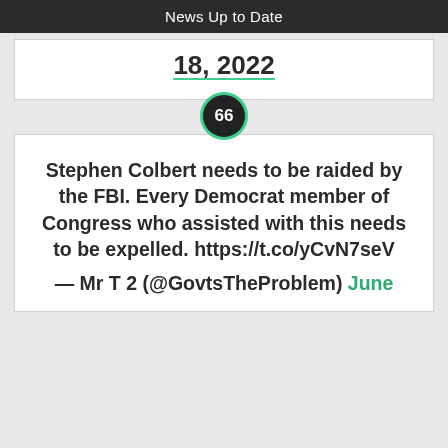News Up to Date
18, 2022
66
Stephen Colbert needs to be raided by the FBI. Every Democrat member of Congress who assisted with this needs to be expelled. https://t.co/yCvN7seV
— Mr T 2 (@GovtsTheProblem) June